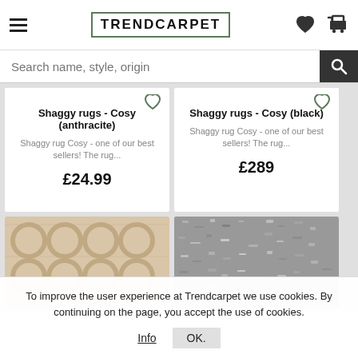TRENDCARPET
Search name, style, origin
Shaggy rugs - Cosy (anthracite)
Shaggy rug Cosy - one of our best sellers! The rug...
£24.99
Shaggy rugs - Cosy (black)
Shaggy rug Cosy - one of our best sellers! The rug...
£289
[Figure (photo): Beige textured rug with circular pattern]
[Figure (photo): Grey shaggy rug texture close-up]
To improve the user experience at Trendcarpet we use cookies. By continuing on the page, you accept the use of cookies.